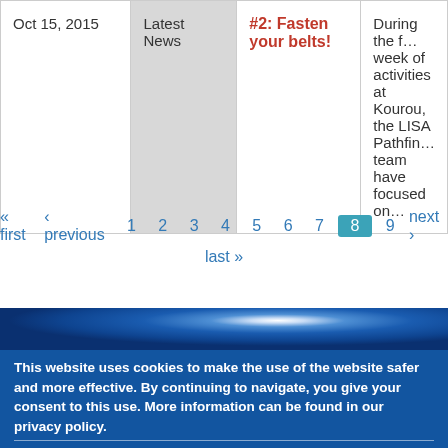| Date | Category | Title | Description |
| --- | --- | --- | --- |
| Oct 15, 2015 | Latest News | #2: Fasten your belts! | During the first week of activities at Kourou, the LISA Pathfinder team have focused on… |
« first ‹ previous 1 2 3 4 5 6 7 8 9 next › last »
[Figure (photo): Blue space/cosmic background image with bright light source center-right]
This website uses cookies to make the use of the website safer and more effective. By continuing to navigate, you give your consent to this use. More information can be found in our privacy policy. Find out more about our privacy policy
I agree  Decline